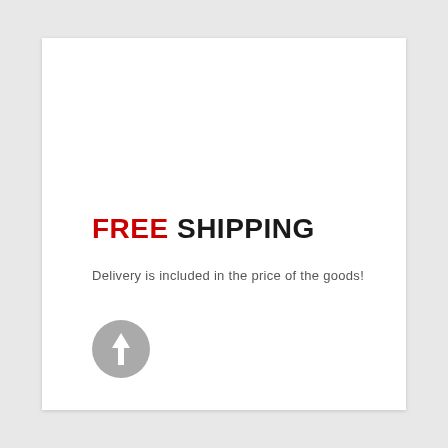FREE SHIPPING
Delivery is included in the price of the goods!
[Figure (illustration): Gray circular button with white upward arrow icon]